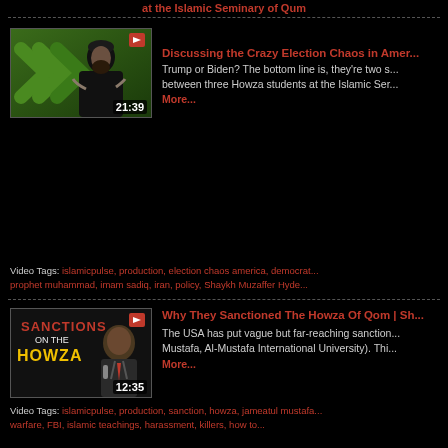at the Islamic Seminary of Qum
[Figure (screenshot): Video thumbnail showing a man in black clerical attire on a green background, duration 21:39]
Discussing the Crazy Election Chaos in Amer...
Trump or Biden? The bottom line is, they're two s... between three Howza students at the Islamic Ser...
More...
Video Tags: islamicpulse, production, election chaos america, democrat... prophet muhammad, imam sadiq, iran, policy, Shaykh Muzaffer Hyde...
[Figure (screenshot): Video thumbnail with text 'Sanctions on the Howza' and a man in a suit, duration 12:35]
Why They Sanctioned The Howza Of Qom | Sh...
The USA has put vague but far-reaching sanction... Mustafa, Al-Mustafa International University). Thi...
More...
Video Tags: islamicpulse, production, sanction, howza, jameatul mustafa... warfare, FBI, islamic teachings, harassment, killers, how to...